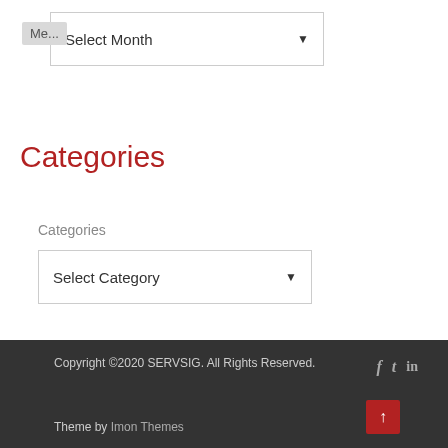Me...
Select Month
Categories
Categories
Select Category
Copyright ©2020 SERVSIG. All Rights Reserved.
Theme by Imon Themes